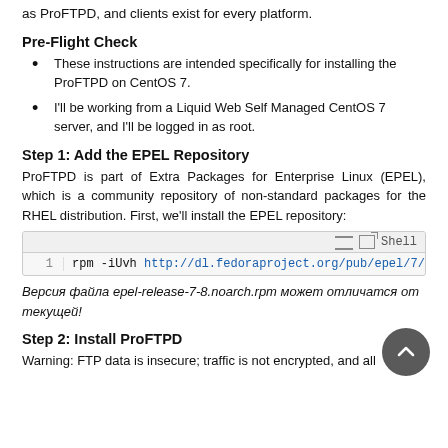as ProFTPD, and clients exist for every platform.
Pre-Flight Check
These instructions are intended specifically for installing the ProFTPD on CentOS 7.
I'll be working from a Liquid Web Self Managed CentOS 7 server, and I'll be logged in as root.
Step 1: Add the EPEL Repository
ProFTPD is part of Extra Packages for Enterprise Linux (EPEL), which is a community repository of non-standard packages for the RHEL distribution. First, we'll install the EPEL repository:
[Figure (screenshot): Shell code block showing: rpm -iUvh http://dl.fedoraproject.org/pub/epel/7/x86_64...]
Версия файла epel-release-7-8.noarch.rpm может отличатся от текущей!
Step 2: Install ProFTPD
Warning: FTP data is insecure; traffic is not encrypted, and all